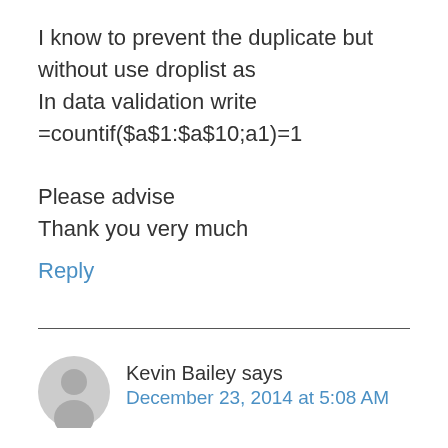I know to prevent the duplicate but without use droplist as
In data validation write
=countif($a$1:$a$10;a1)=1

Please advise
Thank you very much
Reply
[Figure (illustration): Generic user avatar — grey circular silhouette of a person]
Kevin Bailey says
December 23, 2014 at 5:08 AM